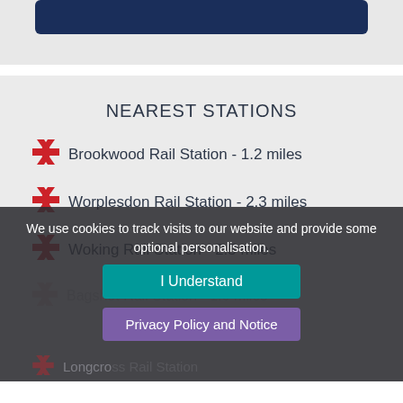NEAREST STATIONS
Brookwood Rail Station - 1.2 miles
Worplesdon Rail Station - 2.3 miles
Woking Rail Station - 2.5 miles
Bagshot Rail Station - 1.6 miles (partially visible)
Longcross Rail Station (partially visible)
We use cookies to track visits to our website and provide some optional personalisation.
I Understand
Privacy Policy and Notice